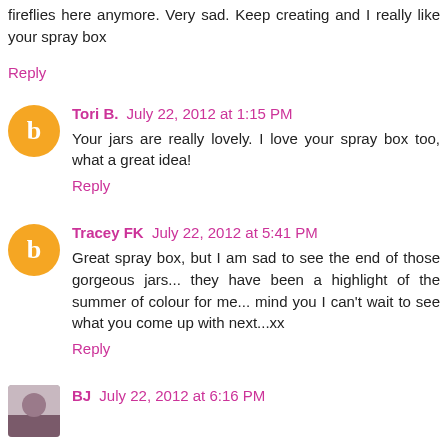fireflies here anymore. Very sad. Keep creating and I really like your spray box
Reply
Tori B. July 22, 2012 at 1:15 PM
Your jars are really lovely. I love your spray box too, what a great idea!
Reply
Tracey FK July 22, 2012 at 5:41 PM
Great spray box, but I am sad to see the end of those gorgeous jars... they have been a highlight of the summer of colour for me... mind you I can't wait to see what you come up with next...xx
Reply
BJ July 22, 2012 at 6:16 PM